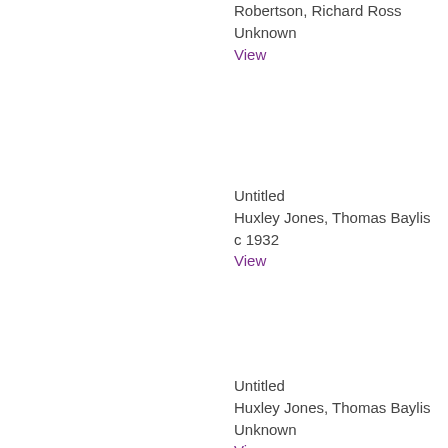Robertson, Richard Ross
Unknown
View
Untitled
Huxley Jones, Thomas Baylis
c 1932
View
Untitled
Huxley Jones, Thomas Baylis
Unknown
View